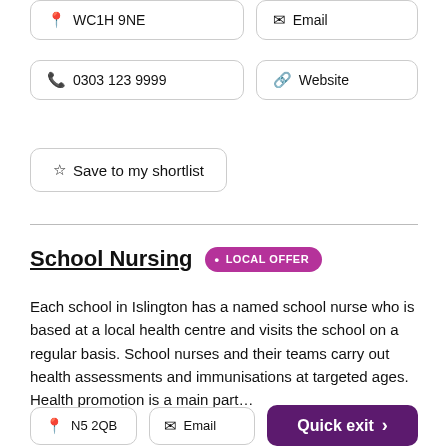📍 WC1H 9NE
✉ Email
📞 0303 123 9999
🔗 Website
☆ Save to my shortlist
School Nursing • LOCAL OFFER
Each school in Islington has a named school nurse who is based at a local health centre and visits the school on a regular basis. School nurses and their teams carry out health assessments and immunisations at targeted ages. Health promotion is a main part...
📍 N5 2QB
✉ Email
Quick exit >